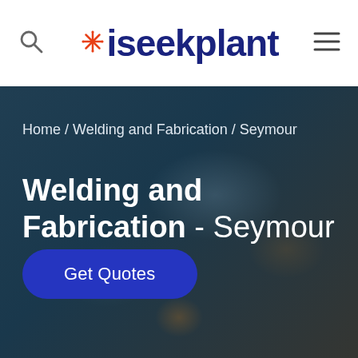iseekplant
Home / Welding and Fabrication / Seymour
Welding and Fabrication - Seymour
Get Quotes